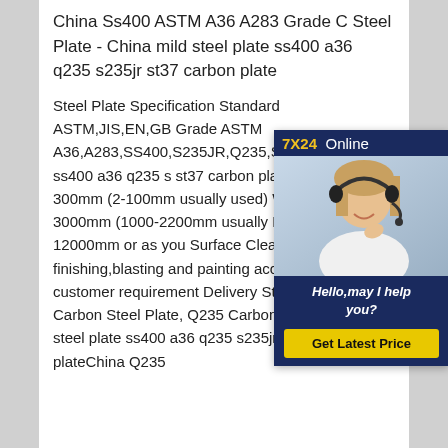China Ss400 ASTM A36 A283 Grade C Steel Plate - China mild steel plate ss400 a36 q235 s235jr st37 carbon plate
Steel Plate Specification Standard ASTM,JIS,EN,GB Grade ASTM A36,A283,SS400,S235JR,Q235,S mild steel plate ss400 a36 q235 s st37 carbon plate Thickness 2-300mm (2-100mm usually used) Width 1000-3000mm (1000-2200mm usually used) Length 1000-12000mm or as you Surface Clean, finishing,blasting and painting according to customer requirement Delivery StatesChina Q235 Carbon Steel Plate, Q235 Carbon Steel Plate mild steel plate ss400 a36 q235 s235jr st37 carbon plateChina Q235
[Figure (photo): Chat support widget with photo of woman with headset, 7X24 Online header, Hello may I help you? message, and Get Latest Price button]